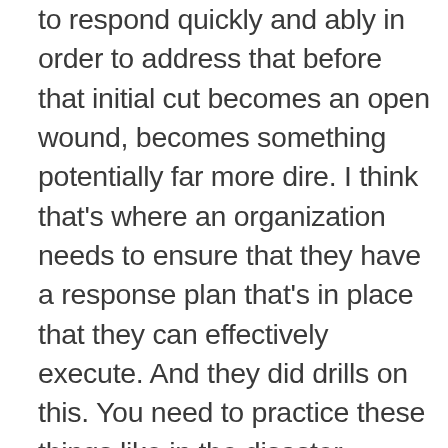to respond quickly and ably in order to address that before that initial cut becomes an open wound, becomes something potentially far more dire. I think that's where an organization needs to ensure that they have a response plan that's in place that they can effectively execute. And they did drills on this. You need to practice these things like in the disaster context. There's no difference for an epic breached level event, knowing how to handle the whole procedural piece in the event something like this does occur as part of it. Now, that said, let's step back a moment because oftentimes people make that statement about, you know, somebody wants to hack you. They will. So they did that based on predominantly the amount of